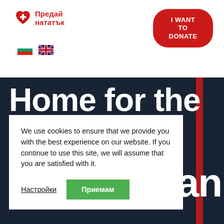[Figure (logo): Предай нататък charity logo with red heart icon and Cyrillic text]
[Figure (other): Red oval donate button reading I WANT TO DONATE]
[Figure (other): Bulgarian flag and UK flag icons for language selection]
[Figure (photo): Dark navy hero background with large white bold text 'Home for the' and partial text 'dan' visible]
We use cookies to ensure that we provide you with the best experience on our website. If you continue to use this site, we will assume that you are satisfied with it.
Настройки
Приемам